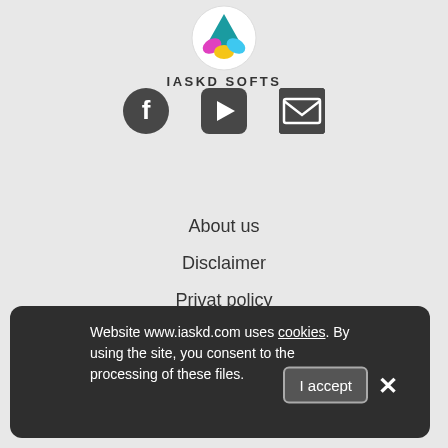[Figure (logo): IASKD Softs logo — colorful triangular icon above brand name]
IASKD SOFTS
[Figure (infographic): Three social icons: Facebook circle, YouTube play button, Email envelope]
About us
Disclaimer
Privat policy
Terms&Conditions
Contact
reserved 2021 - 2022
Website www.iaskd.com uses cookies. By using the site, you consent to the processing of these files.